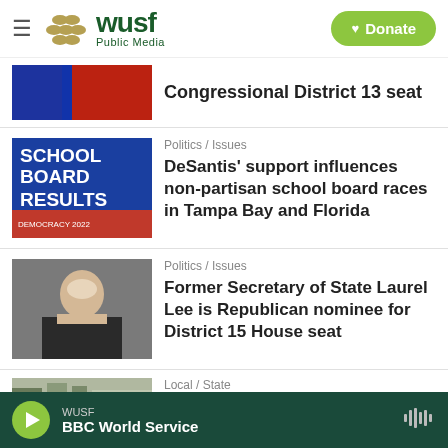[Figure (logo): WUSF Public Media logo with golden dots and green text, hamburger menu icon, and green Donate button]
[Figure (photo): Partial photo of political figures]
Congressional District 13 seat
[Figure (screenshot): Blue graphic showing SCHOOL BOARD RESULTS text with red strip at bottom]
Politics / Issues
DeSantis' support influences non-partisan school board races in Tampa Bay and Florida
[Figure (photo): Photo of a blonde woman in a dark jacket, Former Secretary of State Laurel Lee]
Politics / Issues
Former Secretary of State Laurel Lee is Republican nominee for District 15 House seat
[Figure (photo): Partial outdoor/landscape photo]
Local / State
WUSF BBC World Service